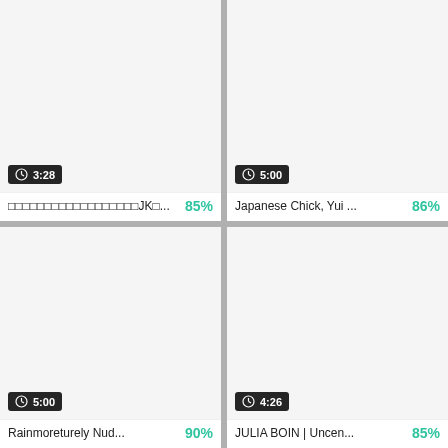[Figure (screenshot): Video thumbnail card top-left, white background, duration badge '3:28']
□□□□□□□□□□□□□□□□□□JK□...  85%
[Figure (screenshot): Video thumbnail card top-right, white background, duration badge '5:00']
Japanese Chick, Yui ...  86%
[Figure (screenshot): Video thumbnail card bottom-left, white background, duration badge '5:00']
Rainmoreturely Nud...  90%
[Figure (screenshot): Video thumbnail card bottom-right, white background, duration badge '4:26']
JULIA BOIN | Uncen...  85%